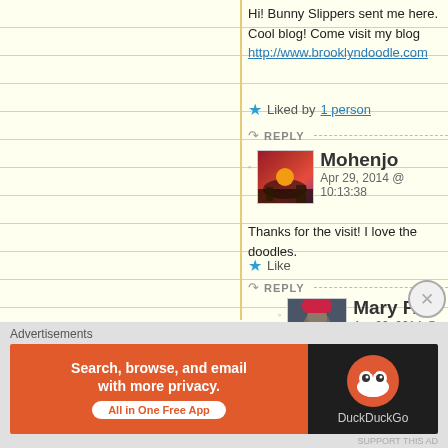Hi! Bunny Slippers sent me here. Cool blog! Come visit my blog http://www.brooklyndoodle.com
★ Liked by 1 person
↪ REPLY
Mohenjo
Apr 29, 2014 @ 10:13:38
Thanks for the visit! I love the doodles.
★ Like
↪ REPLY
Mary F.
Apr 29, 2014 @ 11:12:21
Thank you!!!
★ Like
Advertisements
[Figure (infographic): DuckDuckGo advertisement banner: Search, browse, and email with more privacy. All in One Free App. Shows DuckDuckGo duck logo on dark background.]